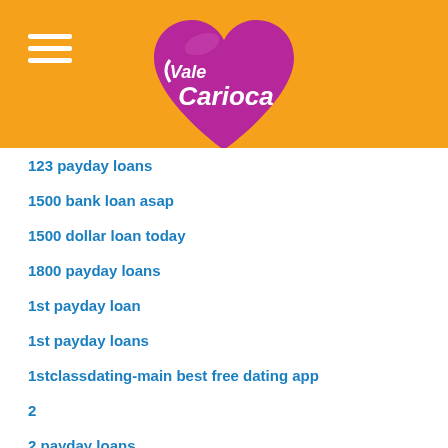[Figure (logo): Vale Carioca logo - a purple/magenta heart shape with white cursive text reading 'Vale Carioca']
123 payday loans
1500 bank loan asap
1500 dollar loan today
1800 payday loans
1st payday loan
1st payday loans
1stclassdating-main best free dating app
2
2 payday loans
2 week payday loans
2000 payday loans
2000 quick loan
208 title loans
247 payday loans